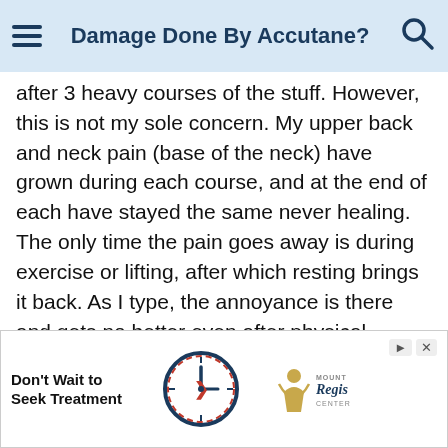Damage Done By Accutane?
from 1995 to 2005. It worked wonders at the time of use, but about a year after each the acne returned in full for. have never heard of anyone having full blown acne return after 3 heavy courses of the stuff. However, this is not my sole concern. My upper back and neck pain (base of the neck) have grown during each course, and at the end of each have stayed the same never healing. The only time the pain goes away is during exercise or lifting, after which resting brings it back. As I type, the annoyance is there and gets no better even after physical therapy/chiropractic work. Next, I went to my doctor recently regarding blood pooling in my hands and accompanying joint pain. When my hands are down or by my side, the blood regulatory functions seem not to work and they become very red. As soon as I put them above my head, the blood drains out and they are white. The doctor seems to think the exposure to accutane could have something to do with this. All I know is that both of these symptoms were noticeably *worse* while on
[Figure (other): Advertisement banner: Don't Wait to Seek Treatment with a clock graphic and Mount Regis Center logo]